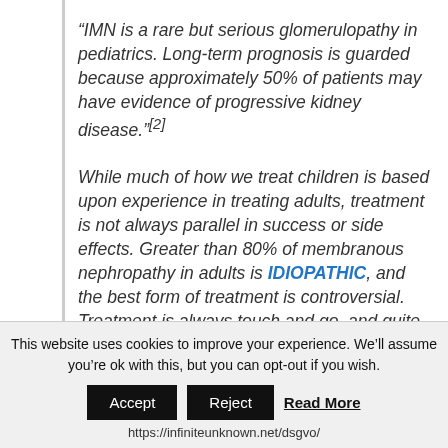“IMN is a rare but serious glomerulopathy in pediatrics. Long-term prognosis is guarded because approximately 50% of patients may have evidence of progressive kidney disease.”[2]
While much of how we treat children is based upon experience in treating adults, treatment is not always parallel in success or side effects. Greater than 80% of membranous nephropathy in adults is IDIOPATHIC, and the best form of treatment is controversial. Treatment is always touch and go, and quite nerve racking to doctor and patient. Don’t you
This website uses cookies to improve your experience. We’ll assume you’re ok with this, but you can opt-out if you wish.
Accept | Reject | Read More
https://infiniteunknown.net/dsgvo/